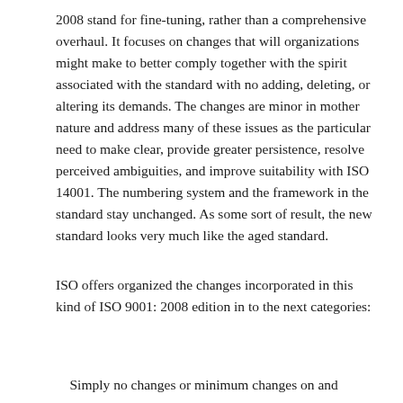2008 stand for fine-tuning, rather than a comprehensive overhaul. It focuses on changes that will organizations might make to better comply together with the spirit associated with the standard with no adding, deleting, or altering its demands. The changes are minor in mother nature and address many of these issues as the particular need to make clear, provide greater persistence, resolve perceived ambiguities, and improve suitability with ISO 14001. The numbering system and the framework in the standard stay unchanged. As some sort of result, the new standard looks very much like the aged standard.
ISO offers organized the changes incorporated in this kind of ISO 9001: 2008 edition in to the next categories:
Simply no changes or minimum changes on and